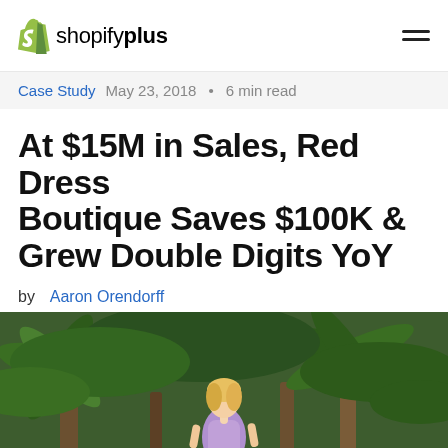shopifyplus
Case Study  May 23, 2018 • 6 min read
At $15M in Sales, Red Dress Boutique Saves $100K & Grew Double Digits YoY
by  Aaron Orendorff
[Figure (photo): Blonde woman in a flowing blue-purple ombre dress standing among tropical palm trees and lush green foliage]